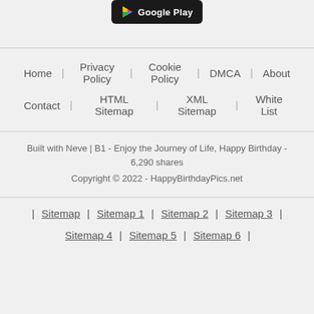[Figure (logo): Google Play store download button at top of page]
Home | Privacy Policy | Cookie Policy | DMCA | About
Contact | HTML Sitemap | XML Sitemap | White List
Built with Neve | B1 - Enjoy the Journey of Life, Happy Birthday - 6,290 shares
Copyright © 2022 - HappyBirthdayPics.net
| Sitemap | Sitemap 1 | Sitemap 2 | Sitemap 3 | Sitemap 4 | Sitemap 5 | Sitemap 6 |